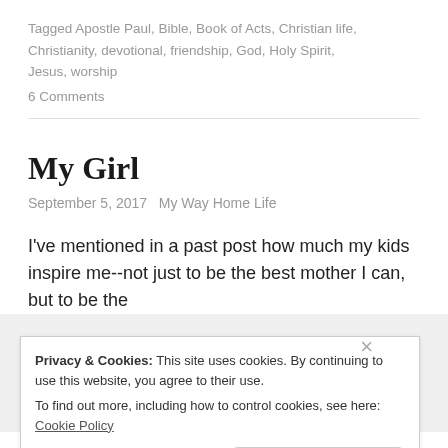Tagged Apostle Paul, Bible, Book of Acts, Christian life, Christianity, devotional, friendship, God, Holy Spirit, Jesus, worship
6 Comments
My Girl
September 5, 2017   My Way Home Life
I've mentioned in a past post how much my kids inspire me--not just to be the best mother I can, but to be the
Privacy & Cookies: This site uses cookies. By continuing to use this website, you agree to their use. To find out more, including how to control cookies, see here: Cookie Policy
Close and accept